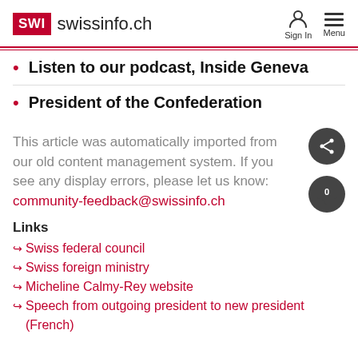SWI swissinfo.ch — Sign In  Menu
Listen to our podcast, Inside Geneva
President of the Confederation
This article was automatically imported from our old content management system. If you see any display errors, please let us know: community-feedback@swissinfo.ch
Links
Swiss federal council
Swiss foreign ministry
Micheline Calmy-Rey website
Speech from outgoing president to new president (French)